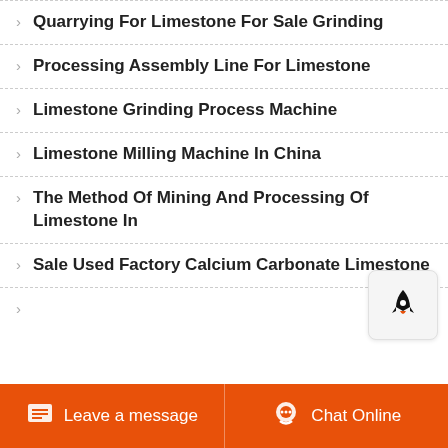Quarrying For Limestone For Sale Grinding
Processing Assembly Line For Limestone
Limestone Grinding Process Machine
Limestone Milling Machine In China
The Method Of Mining And Processing Of Limestone In
Sale Used Factory Calcium Carbonate Limestone
Leave a message   Chat Online